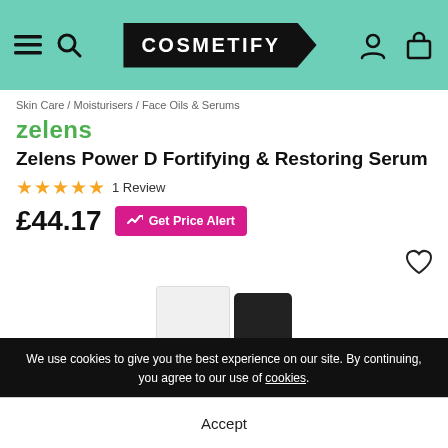COSMETIFY
Skin Care / Moisturisers / Face Oils & Serums
zelens
Zelens Power D Fortifying & Restoring Serum
★★★★★ 1 Review
£44.17  Get Price Alert
[Figure (photo): Product image showing Zelens serum box and bottle, partially visible at bottom of page]
We use cookies to give you the best experience on our site. By continuing, you agree to our use of cookies.
Accept